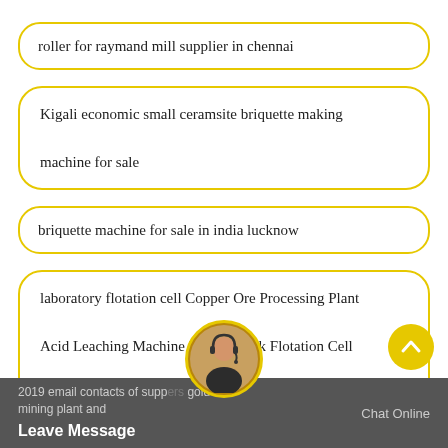roller for raymand mill supplier in chennai
Kigali economic small ceramsite briquette making machine for sale
briquette machine for sale in india lucknow
laboratory flotation cell Copper Ore Processing Plant Acid Leaching Machine Mining Tank Flotation Cell plant
2019 email contacts of suppliers gold mining plant and
Leave Message
Chat Online